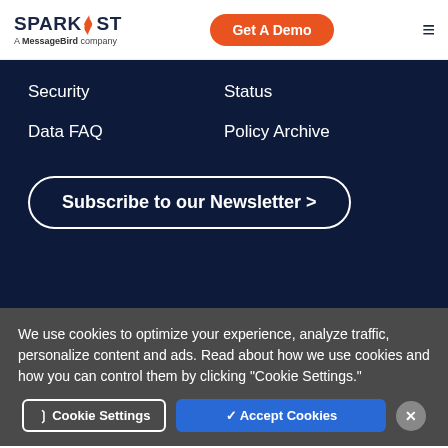SPARKPOST - A MessageBird company | Get A Demo | ☰
Security
Status
Data FAQ
Policy Archive
Subscribe to our Newsletter >
We use cookies to optimize your experience, analyze traffic, personalize content and ads. Read about how we use cookies and how you can control them by clicking "Cookie Settings."
❯ Cookie Settings | ✓ Accept Cookies | ✕